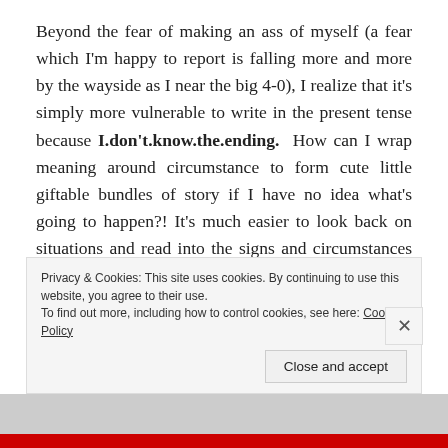Beyond the fear of making an ass of myself (a fear which I'm happy to report is falling more and more by the wayside as I near the big 4-0), I realize that it's simply more vulnerable to write in the present tense because I.don't.know.the.ending. How can I wrap meaning around circumstance to form cute little giftable bundles of story if I have no idea what's going to happen?! It's much easier to look back on situations and read into the signs and circumstances whatever meaning I can glean/craft in hindsight. (I think I was unduly influenced by shows like The Wonder Years and Doogie Howser,
Privacy & Cookies: This site uses cookies. By continuing to use this website, you agree to their use.
To find out more, including how to control cookies, see here: Cookie Policy
Close and accept